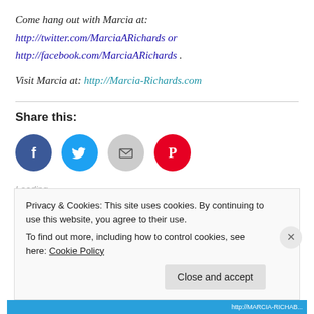Come hang out with Marcia at: http://twitter.com/MarciaARichards or http://facebook.com/MarciaARichards .
Visit Marcia at: http://Marcia-Richards.com
Share this:
[Figure (infographic): Four circular social share buttons: Facebook (blue), Twitter (cyan), Email (gray), Pinterest (red)]
Loading...
Privacy & Cookies: This site uses cookies. By continuing to use this website, you agree to their use. To find out more, including how to control cookies, see here: Cookie Policy
Close and accept